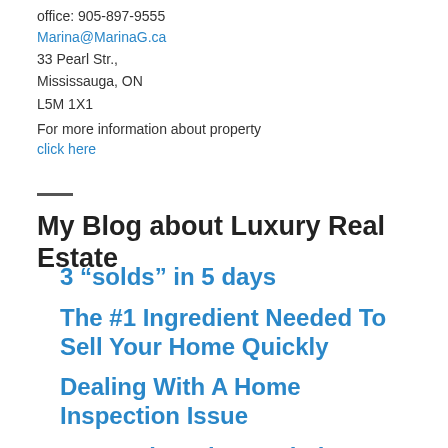office: 905-897-9555
Marina@MarinaG.ca
33 Pearl Str.,
Mississauga, ON
L5M 1X1
For more information about property
click here
My Blog about Luxury Real Estate
3 “solds” in 5 days
The #1 Ingredient Needed To Sell Your Home Quickly
Dealing With A Home Inspection Issue
Home Shopping And The